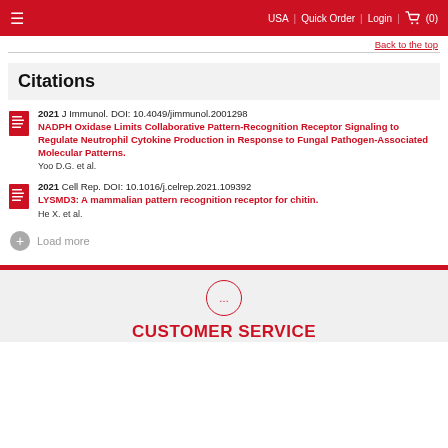USA | Quick Order | Login | (0)
Back to the top
Citations
2021 J Immunol. DOI: 10.4049/jimmunol.2001298
NADPH Oxidase Limits Collaborative Pattern-Recognition Receptor Signaling to Regulate Neutrophil Cytokine Production in Response to Fungal Pathogen-Associated Molecular Patterns.
Yoo D.G. et al.
2021 Cell Rep. DOI: 10.1016/j.celrep.2021.109392
LYSMD3: A mammalian pattern recognition receptor for chitin.
He X. et al.
Load more
CUSTOMER SERVICE